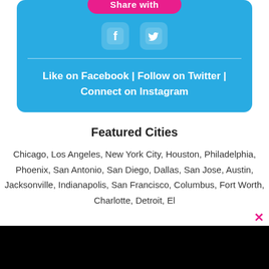[Figure (screenshot): Social sharing widget on a blue rounded rectangle background with a pink 'Share with' button, Facebook and Twitter icon buttons, a horizontal divider, and white bold text links: Like on Facebook | Follow on Twitter | Connect on Instagram]
Featured Cities
Chicago, Los Angeles, New York City, Houston, Philadelphia, Phoenix, San Antonio, San Diego, Dallas, San Jose, Austin, Jacksonville, Indianapolis, San Francisco, Columbus, Fort Worth, Charlotte, Detroit, El ...